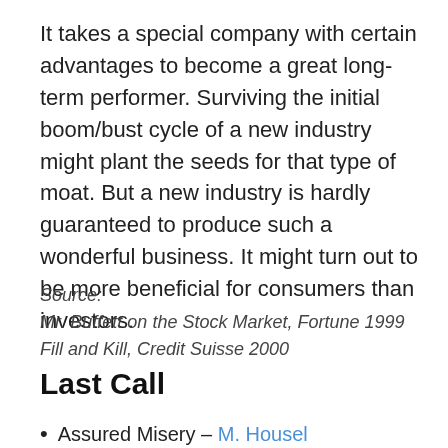It takes a special company with certain advantages to become a great long-term performer. Surviving the initial boom/bust cycle of a new industry might plant the seeds for that type of moat. But a new industry is hardly guaranteed to produce such a wonderful business. It might turn out to be more beneficial for consumers than investors.
Source:
Mr. Buffett on the Stock Market, Fortune 1999
Fill and Kill, Credit Suisse 2000
Last Call
Assured Misery – M. Housel